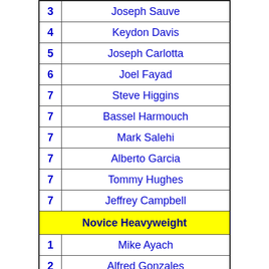| # | Name |
| --- | --- |
| 3 | Joseph Sauve |
| 4 | Keydon Davis |
| 5 | Joseph Carlotta |
| 6 | Joel Fayad |
| 7 | Steve Higgins |
| 7 | Bassel Harmouch |
| 7 | Mark Salehi |
| 7 | Alberto Garcia |
| 7 | Tommy Hughes |
| 7 | Jeffrey Campbell |
|  | Novice Heavyweight |
| 1 | Mike Ayach |
| 2 | Alfred Gonzales |
| 3 | Matt Graeff |
| 4 | Eli Krueger |
| 5 | Matt Santino |